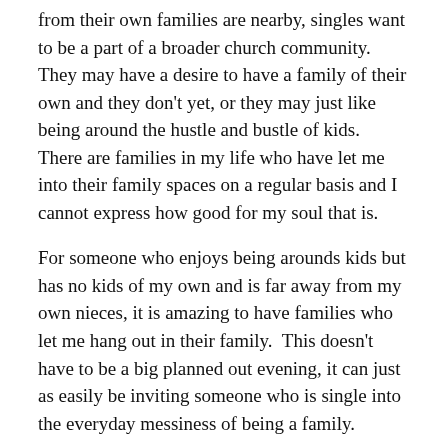from their own families are nearby, singles want to be a part of a broader church community.  They may have a desire to have a family of their own and they don't yet, or they may just like being around the hustle and bustle of kids.  There are families in my life who have let me into their family spaces on a regular basis and I cannot express how good for my soul that is.
For someone who enjoys being arounds kids but has no kids of my own and is far away from my own nieces, it is amazing to have families who let me hang out in their family.  This doesn't have to be a big planned out evening, it can just as easily be inviting someone who is single into the everyday messiness of being a family.
Here are some practical ways this has looked like for me and the families in my life:
Lunch after church